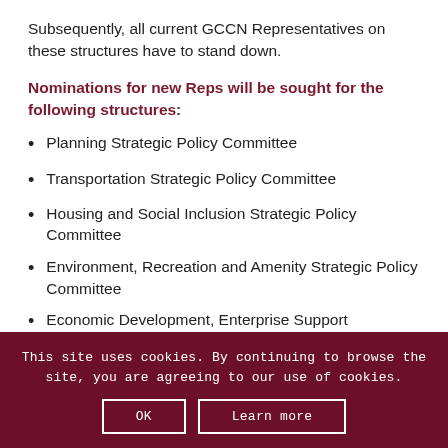Subsequently, all current GCCN Representatives on these structures have to stand down.
Nominations for new Reps will be sought for the following structures:
Planning Strategic Policy Committee
Transportation Strategic Policy Committee
Housing and Social Inclusion Strategic Policy Committee
Environment, Recreation and Amenity Strategic Policy Committee
Economic Development, Enterprise Support
This site uses cookies. By continuing to browse the site, you are agreeing to our use of cookies.
OK
Learn more